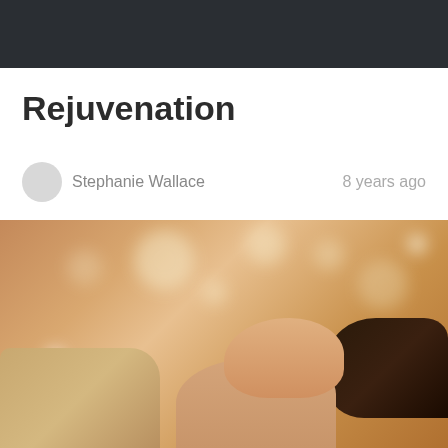Rejuvenation
Stephanie Wallace    8 years ago
[Figure (photo): Woman lying down receiving a spa treatment, eyes closed, wrapped in a towel, with warm bokeh golden light background suggesting a rejuvenation/spa setting]